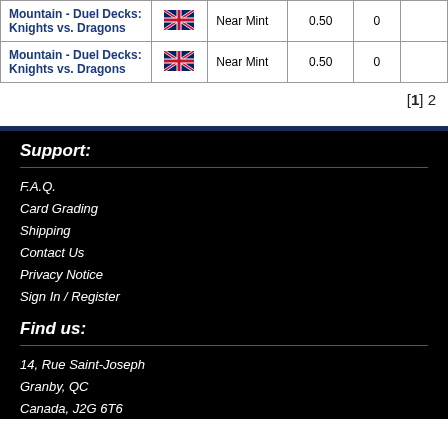| Card Name | Language | Condition | Price | Qty | Action |
| --- | --- | --- | --- | --- | --- |
| Mountain - Duel Decks: Knights vs. Dragons | EN | Near Mint | 0.50 | 0 |  |
| Mountain - Duel Decks: Knights vs. Dragons | EN | Near Mint | 0.50 | 0 |  |
[1] 2
Support:
F.A.Q.
Card Grading
Shipping
Contact Us
Privacy Notice
Sign In / Register
Find us:
14, Rue Saint-Joseph
Granby, QC
Canada, J2G 6T6
1.450.776.6669
info@maitredejeu.com